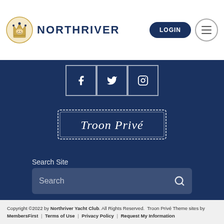[Figure (logo): NorthRiver logo with crown mascot and text NORTHRIVER in navy blue]
[Figure (logo): LOGIN button (dark navy rounded rectangle) and hamburger menu circle button]
[Figure (infographic): Social media icons: Facebook, Twitter, Instagram in white outlined square boxes on dark navy background]
[Figure (logo): Troon Privé logo in white serif text with decorative border on dark navy background]
Search Site
Search
Copyright ©2022 by Northriver Yacht Club. All Rights Reserved. Troon Privé Theme sites by MembersFirst | Terms of Use | Privacy Policy | Request My Information